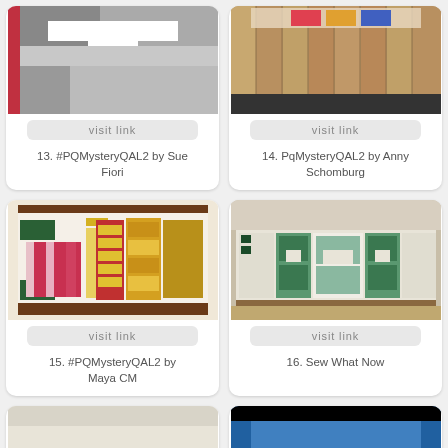[Figure (photo): Quilt block photo for entry 13 - black, white, gray and red quilt]
visit link
13. #PQMysteryQAL2 by Sue Fiori
[Figure (photo): Quilt block photo for entry 14 - quilt against wooden fence]
visit link
14. PqMysteryQAL2 by Anny Schomburg
[Figure (photo): Quilt block photo for entry 15 - colorful red, yellow, green quilt blocks]
visit link
15. #PQMysteryQAL2 by Maya CM
[Figure (photo): Quilt block photo for entry 16 - green and white quilt blocks]
visit link
16. Sew What Now
[Figure (photo): Partial view of entry 17 quilt]
[Figure (photo): Partial view of entry 18 quilt - blue tones]